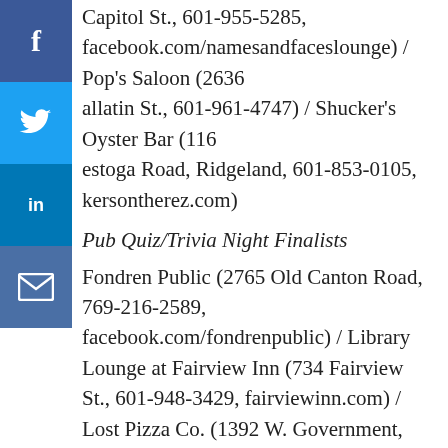Capitol St., 601-955-5285, facebook.com/namesandfaceslounge) / Pop's Saloon (2636 allatin St., 601-961-4747) / Shucker's Oyster Bar (116 estoga Road, Ridgeland, 601-853-0105, kersontherez.com)
Pub Quiz/Trivia Night Finalists
Fondren Public (2765 Old Canton Road, 769-216-2589, facebook.com/fondrenpublic) / Library Lounge at Fairview Inn (734 Fairview St., 601-948-3429, fairviewinn.com) / Lost Pizza Co. (1392 W. Government, Brandon, 601-824-5515; 144 Friendly and Fresh Drive, Flowood, 601-345-8679; 500 Highway 51, Ridgeland, 769-300-31116; lostpizza.com) / Pig & Pint (3139 N. State St., 601-326-6070, pigandpint.com) / Urban Foxes (826 North St., 769-